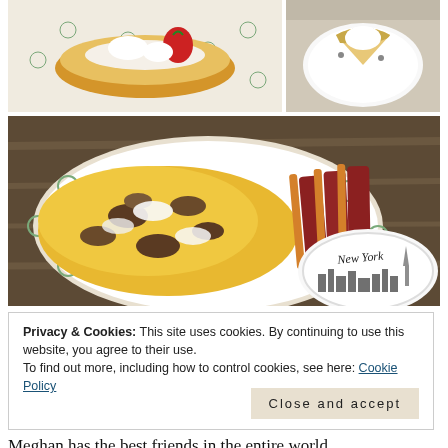[Figure (photo): Food photo collage: top-left shows a pastry/donut with strawberry and cream on a decorative plate, top-right shows a slice of pie or cake on a white plate, main large photo shows scrambled eggs with mushrooms and bacon strips on a decorative plate with a New York souvenir plate visible in the corner]
Privacy & Cookies: This site uses cookies. By continuing to use this website, you agree to their use. To find out more, including how to control cookies, see here: Cookie Policy
Close and accept
Meghan has the best friends in the entire world.